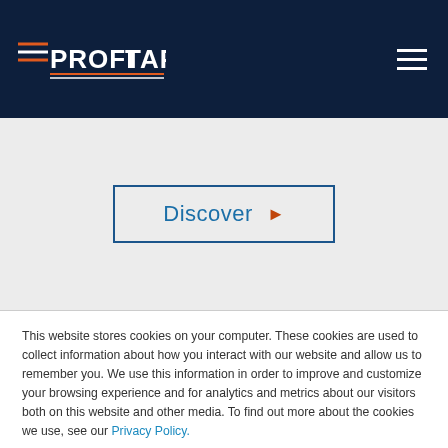PROFITAP logo and navigation bar
[Figure (logo): PROFITAP logo in white on dark navy background with orange and white horizontal lines as decorative elements]
Discover ▶
This website stores cookies on your computer. These cookies are used to collect information about how you interact with our website and allow us to remember you. We use this information in order to improve and customize your browsing experience and for analytics and metrics about our visitors both on this website and other media. To find out more about the cookies we use, see our Privacy Policy.
Accept
Decline